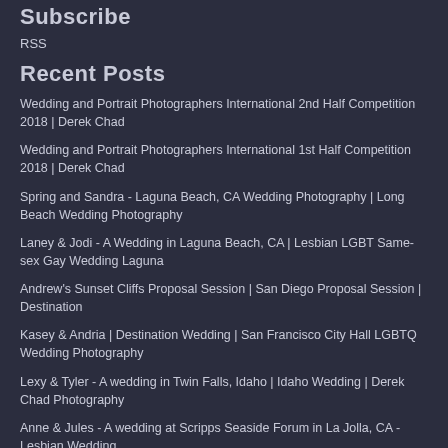Subscribe
RSS
Recent Posts
Wedding and Portrait Photographers International 2nd Half Competition 2018 | Derek Chad
Wedding and Portrait Photographers International 1st Half Competition 2018 | Derek Chad
Spring and Sandra - Laguna Beach, CA Wedding Photography | Long Beach Wedding Photography
Laney & Jodi - A Wedding in Laguna Beach, CA | Lesbian LGBT Same-sex Gay Wedding Laguna
Andrew's Sunset Cliffs Proposal Session | San Diego Proposal Session | Destination
Kasey & Andria | Destination Wedding | San Francisco City Hall LGBTQ Wedding Photography
Lexy & Tyler - A wedding in Twin Falls, Idaho | Idaho Wedding | Derek Chad Photography
Anne & Jules - A wedding at Scripps Seaside Forum in La Jolla, CA - Lesbian Wedding
Tim & Edo | San Diego County Administration Building Wedding | San Diego Photographer
Christopher and Michael - A Gay Wedding in Laguna Beach, CA | Laguna